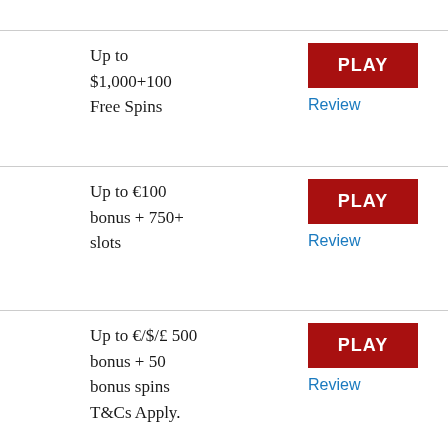Up to $1,000+100 Free Spins
PLAY
Review
Up to €100 bonus + 750+ slots
PLAY
Review
Up to €/$/£ 500 bonus + 50 bonus spins T&Cs Apply.
PLAY
Review